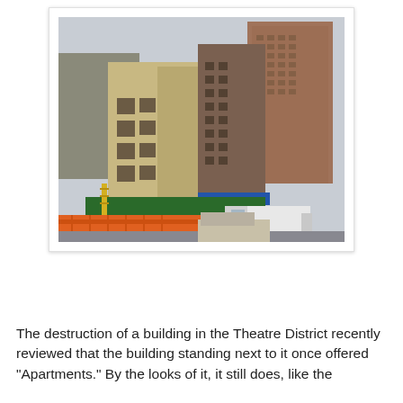[Figure (photo): Street-level photograph of a multi-story brick building under demolition/construction in New York City's Theatre District. The building has yellow-tan and darker brick facades with empty window openings. Green construction barriers line the street with orange barricades in the foreground. A white van and a car are visible on the street. Taller modern skyscrapers are visible in the background against an overcast sky.]
The destruction of a building in the Theatre District recently reviewed that the building standing next to it once offered "Apartments." By the looks of it, it still does, like the